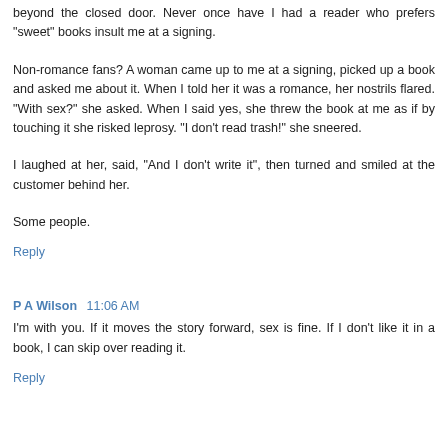beyond the closed door. Never once have I had a reader who prefers "sweet" books insult me at a signing.
Non-romance fans? A woman came up to me at a signing, picked up a book and asked me about it. When I told her it was a romance, her nostrils flared. "With sex?" she asked. When I said yes, she threw the book at me as if by touching it she risked leprosy. "I don't read trash!" she sneered.
I laughed at her, said, "And I don't write it", then turned and smiled at the customer behind her.
Some people.
Reply
P A Wilson  11:06 AM
I'm with you. If it moves the story forward, sex is fine. If I don't like it in a book, I can skip over reading it.
Reply